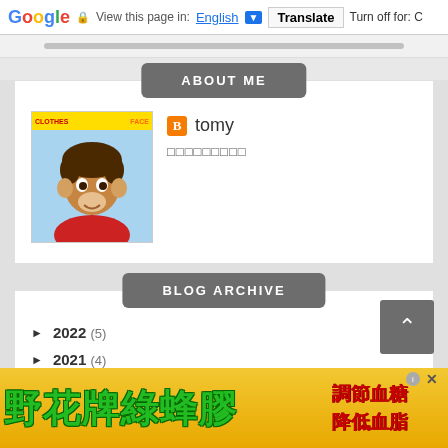Google | View this page in: English [▼] | Translate | Turn off for: C
ABOUT ME
[Figure (illustration): Avatar cartoon character - child with brown hair in red outfit]
tomy
□□□□□□□□□
BLOG ARCHIVE
► 2022 (5)
► 2021 (4)
[Figure (illustration): Chinese advertisement banner: 野花牌綠蜂膠 調節血糖 降低血脂 - yellow background with green Chinese characters on left and red characters on right]